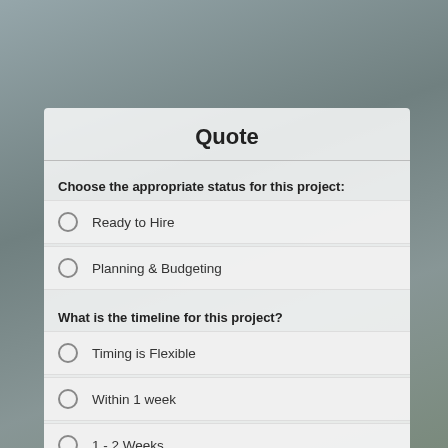[Figure (photo): Background photo of a person wearing a hairnet/cap, blurred, with grey-blue tones]
Quote
Choose the appropriate status for this project:
Ready to Hire
Planning & Budgeting
What is the timeline for this project?
Timing is Flexible
Within 1 week
1 - 2 Weeks
More than 2 Weeks